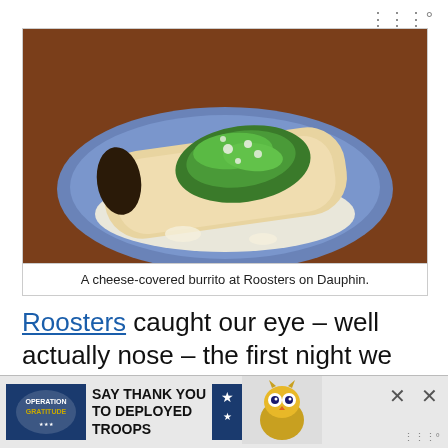[Figure (photo): A cheese-covered burrito on a blue plate with white cream sauce, guacamole, shredded herbs and white cheese crumbles on top, served at Roosters on Dauphin.]
A cheese-covered burrito at Roosters on Dauphin.
Roosters caught our eye – well actually nose – the first night we were exploring downtown Mobile. With almost every table filled and an aroma that made us want food even before we sat down…
[Figure (infographic): Operation Gratitude advertisement banner: SAY THANK YOU TO DEPLOYED TROOPS, with a cartoon owl mascot and close buttons.]